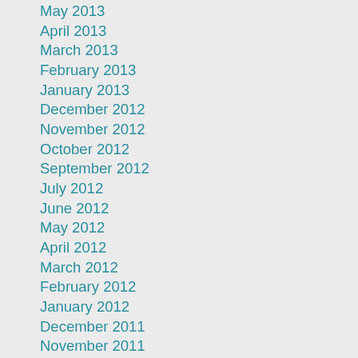May 2013
April 2013
March 2013
February 2013
January 2013
December 2012
November 2012
October 2012
September 2012
July 2012
June 2012
May 2012
April 2012
March 2012
February 2012
January 2012
December 2011
November 2011
October 2011
September 2011
July 2011
May 2011